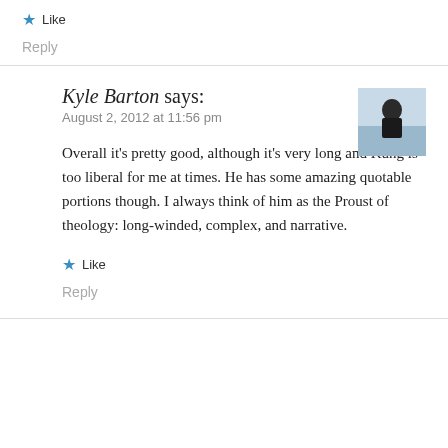★ Like
Reply
Kyle Barton says:
August 2, 2012 at 11:56 pm
[Figure (photo): Small avatar photo of Kyle Barton, a man outdoors near water]
Overall it's pretty good, although it's very long and Kung is too liberal for me at times. He has some amazing quotable portions though. I always think of him as the Proust of theology: long-winded, complex, and narrative.
★ Like
Reply